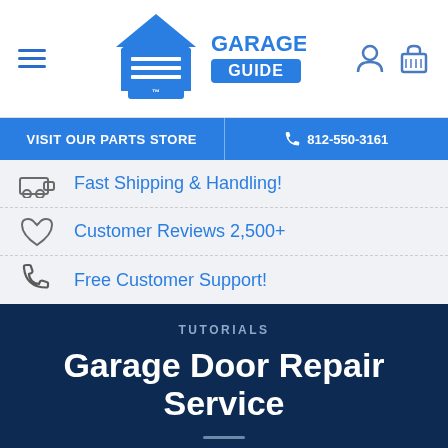[Figure (logo): Garage Door Guide logo with house icon and blue badge]
VISIT OUR PARTS STORE | 812-550-3161
Fast Shipping & Handling!
Customer Reviews 2,500+
Free Customer Support!
TUTORIALS
Garage Door Repair Service